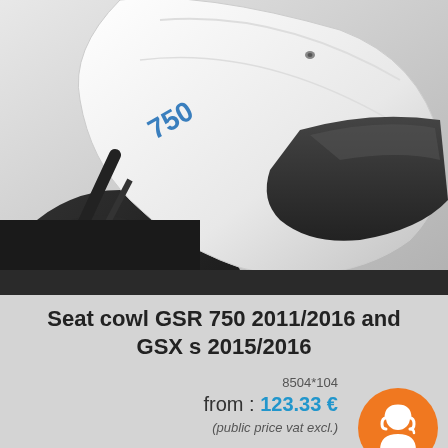[Figure (photo): Close-up photo of a white seat cowl for Suzuki GSR 750 / GSX-S motorcycle, showing the rear fairing panel with '750' blue lettering, black seat and rear tire visible]
Seat cowl GSR 750 2011/2016 and GSX s 2015/2016
8504*104
from : 123.33 €
(public price vat excl.)